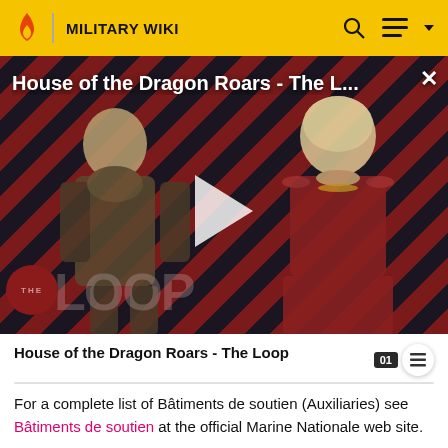MILITARY WIKI
[Figure (screenshot): Video thumbnail for 'House of the Dragon Roars - The L...' showing two characters on a diagonal red and dark stripe background with THE LOOP logo overlay and a play button. A close (X) button is in the top right.]
House of the Dragon Roars - The Loop
For a complete list of Bâtiments de soutien (Auxiliaries) see Bâtiments de soutien at the official Marine Nationale web site.